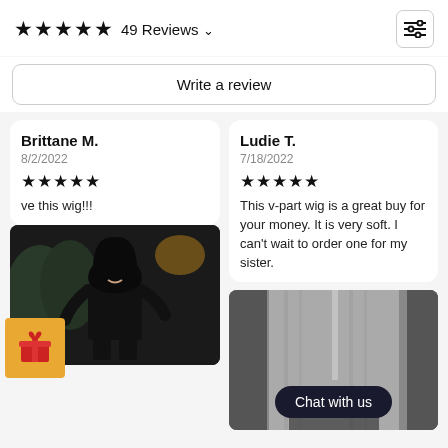★★★★★ 49 Reviews
Write a review
Brittane M.
8/2/2022
★★★★★
ve this wig!!!
[Figure (photo): Photo of woman in black outfit on a street at night]
Ludie T.
7/18/2022
★★★★★
This v-part wig is a great buy for your money. It is very soft. I can't wait to order one for my sister.
[Figure (photo): Close-up photo of hair wig with Chat with us button overlay]
Chat with us